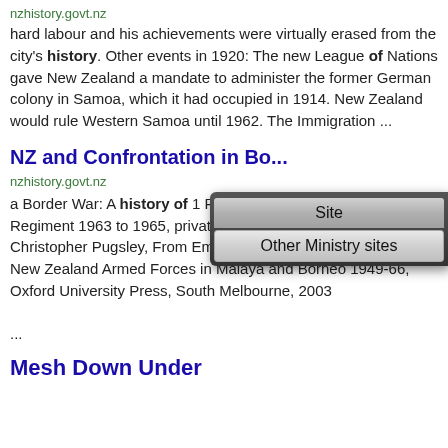nzhistory.govt.nz
hard labour and his achievements were virtually erased from the city's history. Other events in 1920: The new League of Nations gave New Zealand a mandate to administer the former German colony in Samoa, which it had occupied in 1914. New Zealand would rule Western Samoa until 1962. The Immigration ...
[Figure (screenshot): A dropdown menu overlay with two buttons: 'Site' and 'Other Ministry sites']
NZ and Confrontation in Bo...
nzhistory.govt.nz
a Border War: A history of 1 Royal New Zealand Infantry Regiment 1963 to 1965, privately published, Melbourne, 1995 Christopher Pugsley, From Emergency to Confrontation: The New Zealand Armed Forces in Malaya and Borneo 1949-66, Oxford University Press, South Melbourne, 2003 ...
Mesh Down Under